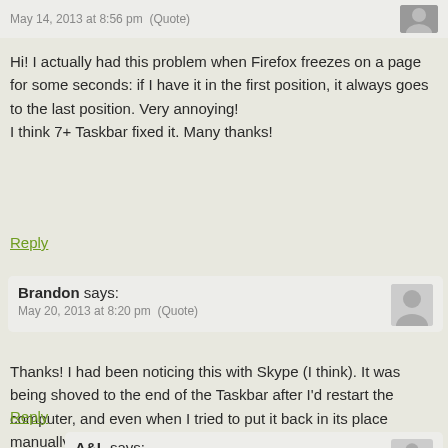May 14, 2013 at 8:56 pm  (Quote)
Hi! I actually had this problem when Firefox freezes on a page for some seconds: if I have it in the first position, it always goes to the last position. Very annoying!
I think 7+ Taskbar fixed it. Many thanks!
Reply
Brandon says:
May 20, 2013 at 8:20 pm  (Quote)
Thanks! I had been noticing this with Skype (I think). It was being shoved to the end of the Taskbar after I'd restart the computer, and even when I tried to put it back in its place manually, it would jump back to the end!
Reply
A&L says:
June 17, 2013 at 1:17 pm  (Quote)